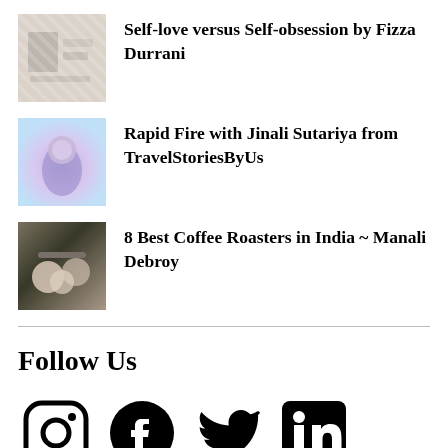Self-love versus Self-obsession by Fizza Durrani
Rapid Fire with Jinali Sutariya from TravelStoriesByUs
8 Best Coffee Roasters in India ~ Manali Debroy
Follow Us
[Figure (illustration): Social media icons: Instagram, Facebook, Twitter, LinkedIn]